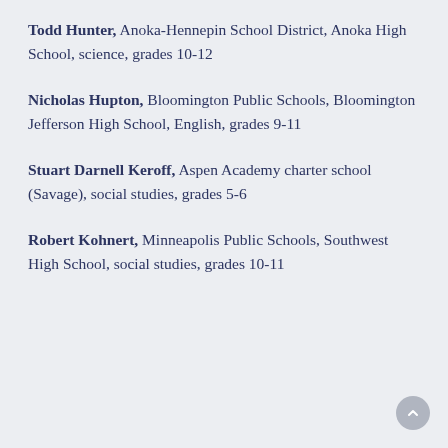Todd Hunter, Anoka-Hennepin School District, Anoka High School, science, grades 10-12
Nicholas Hupton, Bloomington Public Schools, Bloomington Jefferson High School, English, grades 9-11
Stuart Darnell Keroff, Aspen Academy charter school (Savage), social studies, grades 5-6
Robert Kohnert, Minneapolis Public Schools, Southwest High School, social studies, grades 10-11